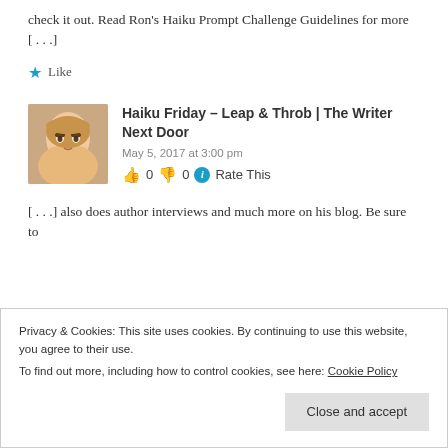check it out. Read Ron's Haiku Prompt Challenge Guidelines for more [...]
★ Like
Haiku Friday – Leap & Throb | The Writer Next Door
May 5, 2017 at 3:00 pm
👍 0 👎 0 ℹ Rate This
[...] also does author interviews and much more on his blog. Be sure to
Privacy & Cookies: This site uses cookies. By continuing to use this website, you agree to their use.
To find out more, including how to control cookies, see here: Cookie Policy
Close and accept